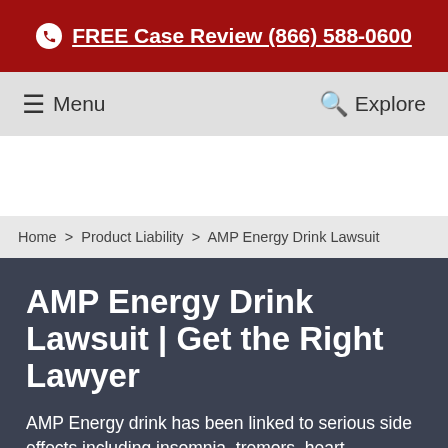FREE Case Review (866) 588-0600
Menu | Explore
Home > Product Liability > AMP Energy Drink Lawsuit
AMP Energy Drink Lawsuit | Get the Right Lawyer
AMP Energy drink has been linked to serious side effects including insomnia, tremors, heart problems,